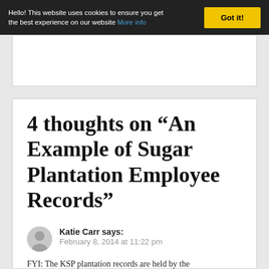Hello! This website uses cookies to ensure you get the best experience on our website More info
4 thoughts on “An Example of Sugar Plantation Employee Records”
Katie Carr says: February 8, 2014 at 11:22 pm
FYI: The KSP plantation records are held by the